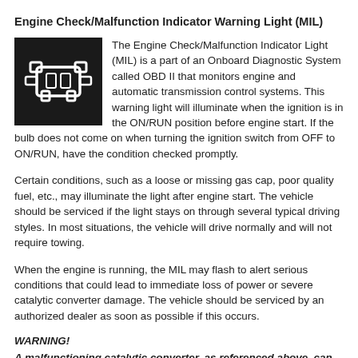Engine Check/Malfunction Indicator Warning Light (MIL)
[Figure (illustration): Black square icon showing an engine/check engine symbol (silhouette of an engine block) in white outline on dark background]
The Engine Check/Malfunction Indicator Light (MIL) is a part of an Onboard Diagnostic System called OBD II that monitors engine and automatic transmission control systems. This warning light will illuminate when the ignition is in the ON/RUN position before engine start. If the bulb does not come on when turning the ignition switch from OFF to ON/RUN, have the condition checked promptly.
Certain conditions, such as a loose or missing gas cap, poor quality fuel, etc., may illuminate the light after engine start. The vehicle should be serviced if the light stays on through several typical driving styles. In most situations, the vehicle will drive normally and will not require towing.
When the engine is running, the MIL may flash to alert serious conditions that could lead to immediate loss of power or severe catalytic converter damage. The vehicle should be serviced by an authorized dealer as soon as possible if this occurs.
WARNING!
A malfunctioning catalytic converter, as referenced above, can reach